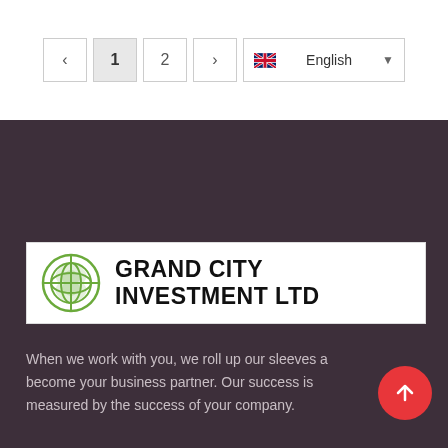< 1 2 > English
[Figure (logo): Grand City Investment Ltd logo with green globe icon and bold black text]
When we work with you, we roll up our sleeves and become your business partner. Our success is measured by the success of your company.